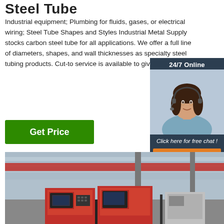Steel Tube
Industrial equipment; Plumbing for fluids, gases, or electrical wiring; Steel Tube Shapes and Styles Industrial Metal Supply stocks carbon steel tube for all applications. We offer a full line of diameters, shapes, and wall thicknesses as specialty steel tubing products. Cut-to service is available to give you the ...
[Figure (photo): Chat widget with dark navy background showing '24/7 Online' header, a smiling female customer service representative wearing a headset, 'Click here for free chat!' text, and an orange QUOTATION button]
[Figure (photo): Industrial factory interior showing red CNC machines and large overhead crane in a steel manufacturing facility]
Get Price